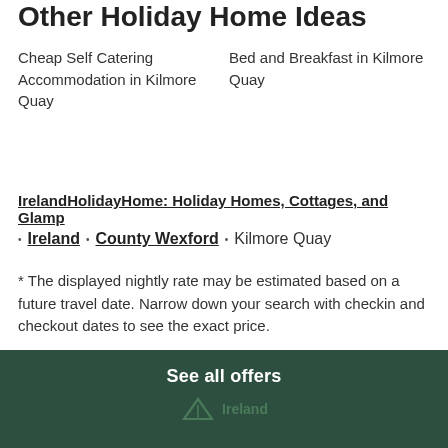Other Holiday Home Ideas
Cheap Self Catering Accommodation in Kilmore Quay
Bed and Breakfast in Kilmore Quay
IrelandHolidayHome: Holiday Homes, Cottages, and Glamp...
· Ireland · County Wexford · Kilmore Quay
* The displayed nightly rate may be estimated based on a future travel date. Narrow down your search with checkin and checkout dates to see the exact price.
See all offers